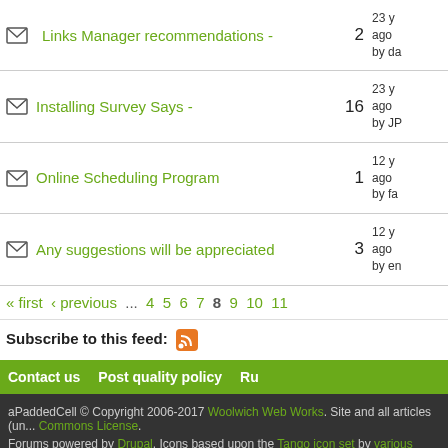Links Manager recommendations - | 2 | 23 y... ago by da...
Installing Survey Says - | 16 | 23 y... ago by JP...
Online Scheduling Program | 1 | 12 y... ago by fa...
Any suggestions will be appreciated | 3 | 12 y... ago by en...
« first ‹ previous ... 4 5 6 7 8 9 10 11
Subscribe to this feed:
Contact us   Post quality policy   Ru...
aPaddedCell © Copyright 2006-2017 Woolwich Web Works. Site and all articles (un... Commons License.
Forums powered by Drupal. Icons based upon the Tango icon set by various artis...
All trademarks and copyrights on this page are owned by their respective owners.